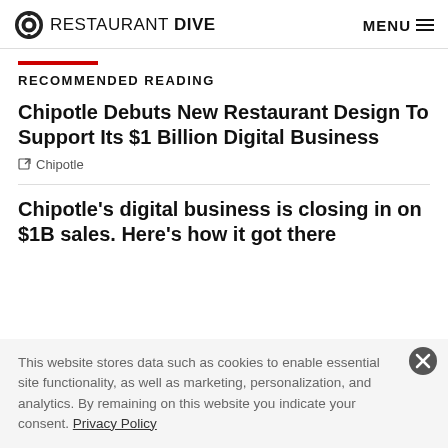RESTAURANT DIVE  MENU
RECOMMENDED READING
Chipotle Debuts New Restaurant Design To Support Its $1 Billion Digital Business
Chipotle
Chipotle’s digital business is closing in on $1B sales. Here’s how it got there
This website stores data such as cookies to enable essential site functionality, as well as marketing, personalization, and analytics. By remaining on this website you indicate your consent. Privacy Policy